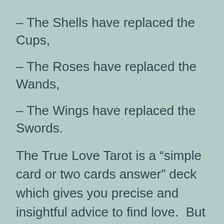– The Shells have replaced the Cups,
– The Roses have replaced the Wands,
– The Wings have replaced the Swords.
The True Love Tarot is a “simple card or two cards answer” deck which gives you precise and insightful advice to find love.  But it can help you improve a current relationship as well. Each of the 78 cards of the True Love Tarot deck is a beautiful collage, a magical fairy-tale, world of dreams and fantasy. Amy and Monte will guide you to make wise